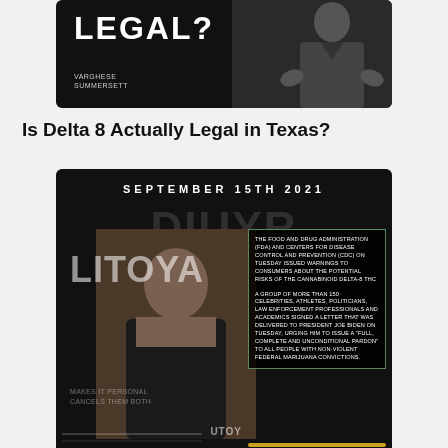[Figure (photo): Partial photo of man in suit with text 'LEGAL?' overlay and Varghese Summersett branding on dark background]
Is Delta 8 Actually Legal in Texas?
[Figure (infographic): Infographic dated September 15th 2021 with LITOYA branding, photo of a man, and text boxes about FDA/CDC warnings on Delta-8 THC and celebrities asking Biden to pardon marijuana charges]
FDA Issues Warning For Delta 8 THC, Celebrities Ask Biden To Pardon Non-Violent Marijuana Charges